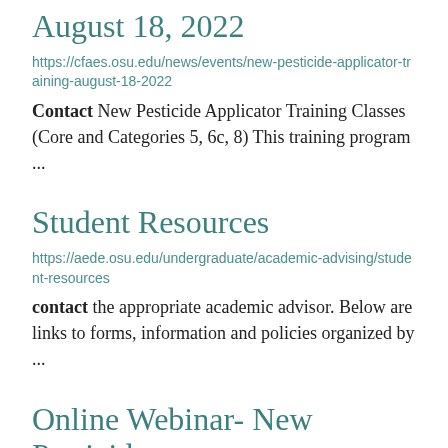August 18, 2022
https://cfaes.osu.edu/news/events/new-pesticide-applicator-training-august-18-2022
Contact New Pesticide Applicator Training Classes (Core and Categories 5, 6c, 8) This training program ...
Student Resources
https://aede.osu.edu/undergraduate/academic-advising/student-resources
contact the appropriate academic advisor. Below are links to forms, information and policies organized by ...
Online Webinar- New Pesticide Applicator Training- October ...